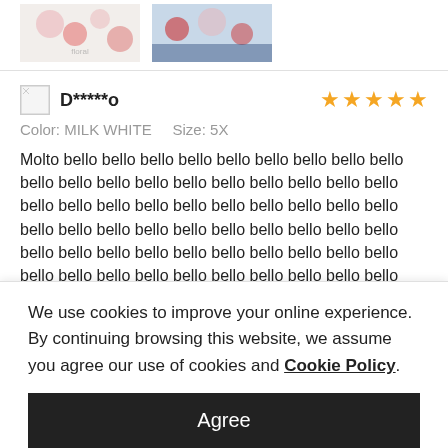[Figure (photo): Two product photos showing floral patterned clothing items - one white with red floral pattern, one with navy and red floral pattern]
D*****o
5 stars rating
Color: MILK WHITE    Size: 5X
Molto bello bello bello bello bello bello bello bello bello bello bello bello bello bello bello bello bello bello bello bello bello bello bello bello bello bello bello bello bello bello bello bello bello bello bello bello bello bello bello bello bello bello bello bello bello bello bello bello bello bello bello bello bello bello bello bello bello bello bello bello bello bello bello bello bello bello bello bello bello bello bello bello bello bello bello bello bello bello bello bello bello bello bello bello bello bello bello bello bello bello be
We use cookies to improve your online experience. By continuing browsing this website, we assume you agree our use of cookies and Cookie Policy.
Agree